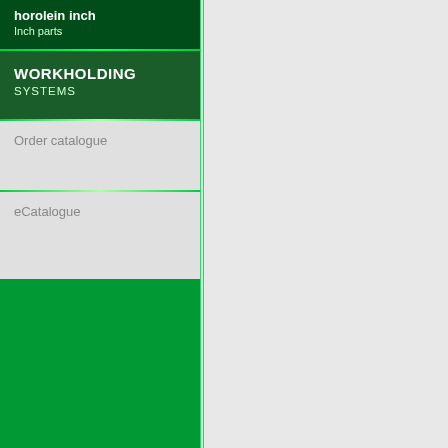horolein inch
Inch parts
WORKHOLDING
SYSTEMS
Order catalogue
eCatalogue